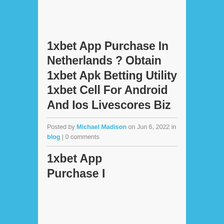1xbet App Purchase In Netherlands ? Obtain 1xbet Apk Betting Utility 1xbet Cell For Android And Ios Livescores Biz
Posted by Michael Madison on Jun 6, 2022 in blog | 0 comments
1xbet App Purchase I...